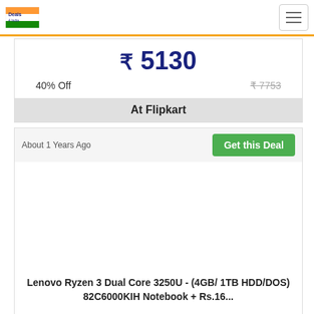Deals4India
₹ 5130
40% Off  ₹ 7753
At Flipkart
About 1 Years Ago
Get this Deal
Lenovo Ryzen 3 Dual Core 3250U - (4GB/ 1TB HDD/DOS) 82C6000KIH Notebook + Rs.16...
₹ 26990
25% Off  ₹ 36181
At Flipkart